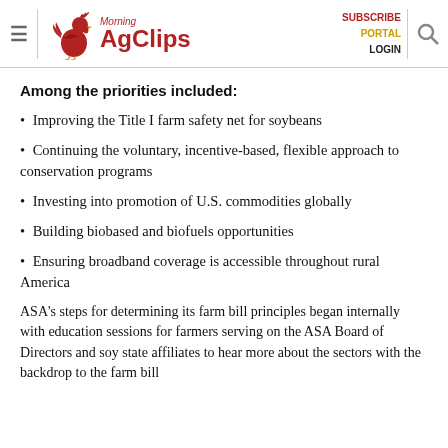Morning AgClips | SUBSCRIBE PORTAL LOGIN
Among the priorities included:
Improving the Title I farm safety net for soybeans
Continuing the voluntary, incentive-based, flexible approach to conservation programs
Investing into promotion of U.S. commodities globally
Building biobased and biofuels opportunities
Ensuring broadband coverage is accessible throughout rural America
ASA's steps for determining its farm bill principles began internally with education sessions for farmers serving on the ASA Board of Directors and soy state affiliates to hear more about the sectors with the backdrop to the farm bill...